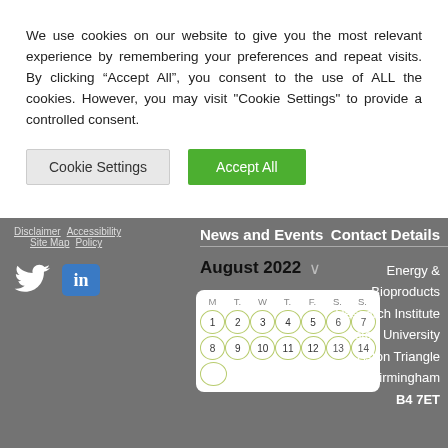We use cookies on our website to give you the most relevant experience by remembering your preferences and repeat visits. By clicking “Accept All”, you consent to the use of ALL the cookies. However, you may visit "Cookie Settings" to provide a controlled consent.
Cookie Settings | Accept All
Disclaimer  Site Map  Accessibility Policy  News and Events  Contact Details
[Figure (screenshot): Footer of a university website showing social media icons (Twitter, LinkedIn), a calendar for August 2022, contact details for Energy & Bioproducts Research Institute at Aston University, and navigation links.]
Energy & Bioproducts Research Institute Aston University Aston Triangle Birmingham B4 7ET